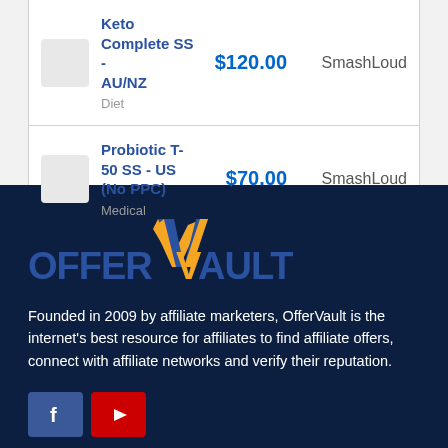| Offer | Price | Network |
| --- | --- | --- |
| Keto Complete SS - AU/NZ
Diet | $120.00 | SmashLoud |
| Probiotic T-50 SS - US (No PPC)
Medical | $70.00 | SmashLoud |
[Figure (logo): OfferVault logo with orange and blue checkmark-V icon above the word OFFERVAULT in blue and orange]
Founded in 2009 by affiliate marketers, OfferVault is the internet's best resource for affiliates to find affiliate offers, connect with affiliate networks and verify their reputation.
[Figure (other): Social media icons: Facebook (blue square with white f) and YouTube (red square with white play button)]